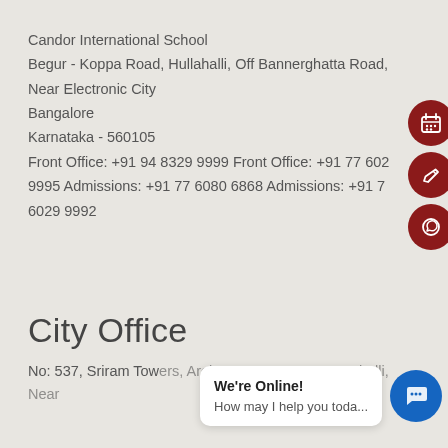Candor International School
Begur - Koppa Road, Hullahalli, Off Bannerghatta Road,
Near Electronic City
Bangalore
Karnataka - 560105
Front Office: +91 94 8329 9999 Front Office: +91 77 602 9995 Admissions: +91 77 6080 6868 Admissions: +91 7 6029 9992
City Office
No: 537, Sriram Towers, Arekere Layout, Bommanahalli, Near...